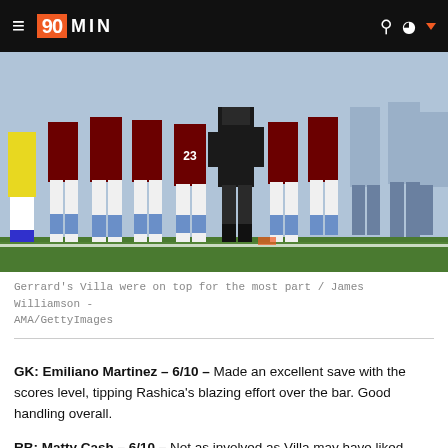90MIN
[Figure (photo): Football players (Aston Villa in claret and blue) standing on a touchline, with coaching staff. Multiple players visible from waist down, wearing white shorts and blue socks.]
Gerrard's Villa were on top for the most part / James Williamson - AMA/GettyImages
GK: Emiliano Martinez - 6/10 - Made an excellent save with the scores level, tipping Rashica's blazing effort over the bar. Good handling overall.
RB: Matty Cash - 6/10 - Not as involved as Villa may have liked - occasionally beaten on the outside by the pacy Rashica.